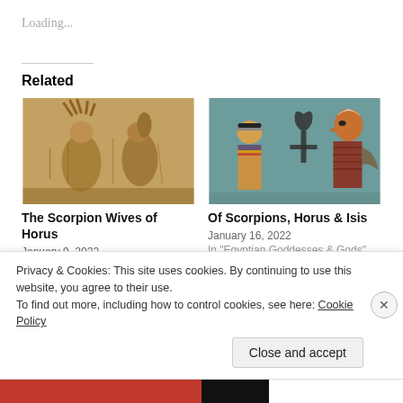Loading...
Related
[Figure (photo): Stone relief carving showing two Egyptian figures facing each other, possibly in worship or greeting, in warm golden-brown tones]
The Scorpion Wives of Horus
January 9, 2022
In "Egyptian Goddesses &
[Figure (photo): Ancient Egyptian wall painting showing a figure with ankh symbol in center, with decorated figures on either side on a teal background]
Of Scorpions, Horus & Isis
January 16, 2022
In "Egyptian Goddesses & Gods"
Privacy & Cookies: This site uses cookies. By continuing to use this website, you agree to their use.
To find out more, including how to control cookies, see here: Cookie Policy
Close and accept